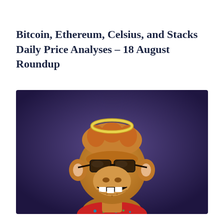Bitcoin, Ethereum, Celsius, and Stacks Daily Price Analyses – 18 August Roundup
[Figure (illustration): Cartoon illustration of a Bored Ape NFT character: an anthropomorphic ape with orange/brown fur, wearing dark sunglasses and a red Hawaiian shirt, with a golden halo above its head, set against a dark purple gradient background.]